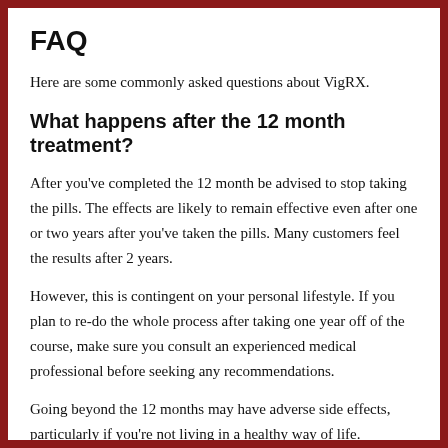FAQ
Here are some commonly asked questions about VigRX.
What happens after the 12 month treatment?
After you've completed the 12 month be advised to stop taking the pills. The effects are likely to remain effective even after one or two years after you've taken the pills. Many customers feel the results after 2 years.
However, this is contingent on your personal lifestyle. If you plan to re-do the whole process after taking one year off of the course, make sure you consult an experienced medical professional before seeking any recommendations.
Going beyond the 12 months may have adverse side effects, particularly if you're not living in a healthy way of life.